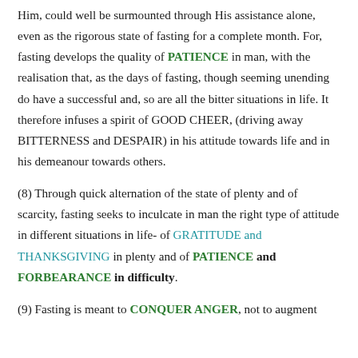Him, could well be surmounted through His assistance alone, even as the rigorous state of fasting for a complete month. For, fasting develops the quality of PATIENCE in man, with the realisation that, as the days of fasting, though seeming unending do have a successful and, so are all the bitter situations in life. It therefore infuses a spirit of GOOD CHEER, (driving away BITTERNESS and DESPAIR) in his attitude towards life and in his demeanour towards others.
(8) Through quick alternation of the state of plenty and of scarcity, fasting seeks to inculcate in man the right type of attitude in different situations in life- of GRATITUDE and THANKSGIVING in plenty and of PATIENCE and FORBEARANCE in difficulty.
(9) Fasting is meant to CONQUER ANGER, not to augment